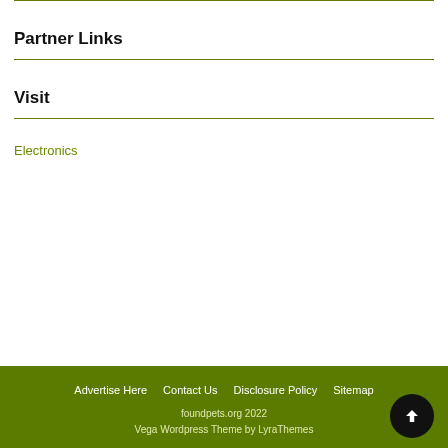Partner Links
Visit
Electronics
Advertise Here   Contact Us   Disclosure Policy   Sitemap
foundpets.org 2022
Vega Wordpress Theme by LyraThemes